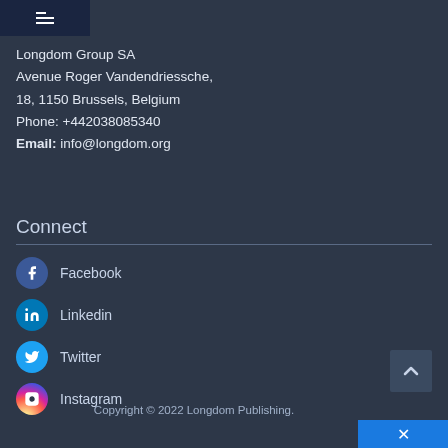[Figure (logo): Navigation hamburger menu icon in dark navy header bar]
Longdom Group SA
Avenue Roger Vandendriessche,
18, 1150 Brussels, Belgium
Phone: +442038085340
Email: info@longdom.org
Connect
Facebook
Linkedin
Twitter
Instagram
Copyright © 2022 Longdom Publishing.